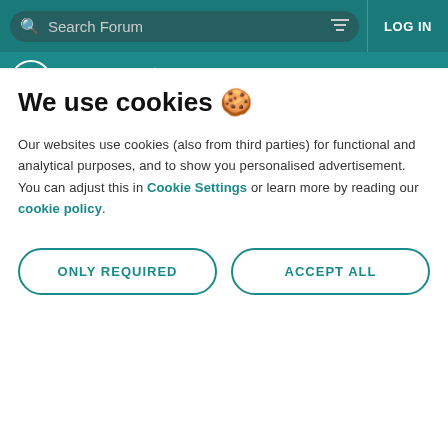Search Forum   LOG IN
FORUM  🔒 A problem whit if, I think so  Using Arduino  Programming Questions
It is possible to read the number form serial (not in ascii)?
If you don't send it as ASCII, it won't be received as ASCII.
That's how it works, if you send it as binary, you receive it as binary.
We use cookies 🍪
Our websites use cookies (also from third parties) for functional and analytical purposes, and to show you personalised advertisement. You can adjust this in Cookie Settings or learn more by reading our cookie policy.
ONLY REQUIRED
ACCEPT ALL